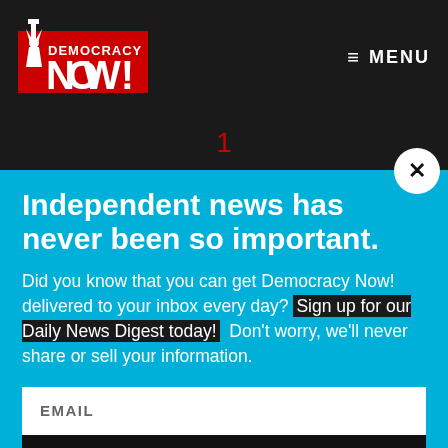[Figure (logo): Democracy Now! logo — red block letters with Statue of Liberty torch graphic]
≡ MENU
1
Independent news has never been so important.
Did you know that you can get Democracy Now! delivered to your inbox every day? Sign up for our Daily News Digest today! Don't worry, we'll never share or sell your information.
EMAIL
SIGN UP!